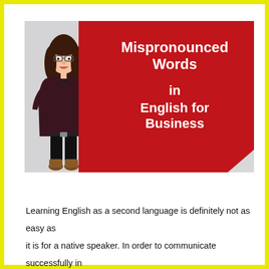[Figure (illustration): Banner image showing an animated cartoon woman with dark hair, glasses, wearing a dark outfit, standing next to a large red tilted shape. White bold text on the red shape reads: 'Mispronounced Words in English for Business'.]
Learning English as a second language is definitely not as easy as it is for a native speaker. In order to communicate successfully in